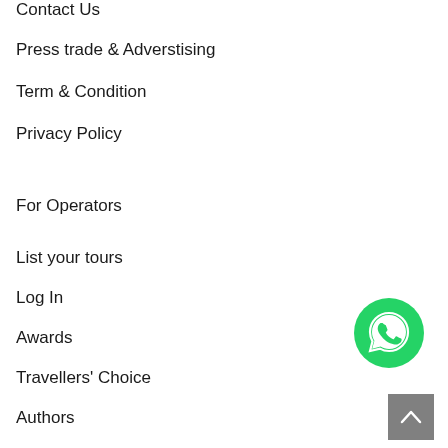Contact Us
Press trade & Adverstising
Term & Condition
Privacy Policy
For Operators
List your tours
Log In
Awards
Travellers' Choice
Authors
[Figure (illustration): WhatsApp contact button - green circle with white WhatsApp phone/chat icon]
[Figure (illustration): Back to top button - grey square with white upward chevron arrow]